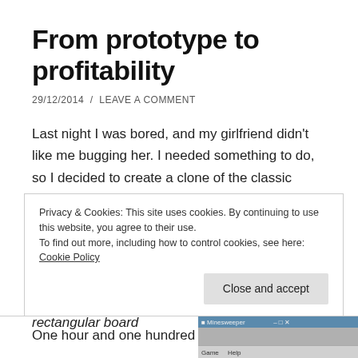From prototype to profitability
29/12/2014  /  LEAVE A COMMENT
Last night I was bored, and my girlfriend didn't like me bugging her. I needed something to do, so I decided to create a clone of the classic video game Minesweeper.
Minesweeper's Wikipedia page reads the following: "Minesweeper is a single-player puzzle video game. The objective of the game is to clear a rectangular board
Privacy & Cookies: This site uses cookies. By continuing to use this website, you agree to their use.
To find out more, including how to control cookies, see here: Cookie Policy
Close and accept
One hour and one hundred
[Figure (screenshot): Screenshot of Minesweeper game interface showing menu bar with Game and Help options]